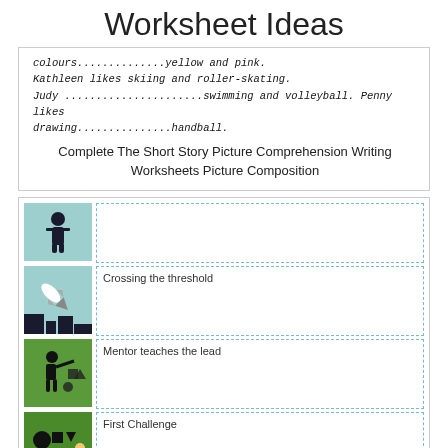Worksheet Ideas
colours..............yellow and pink.
Kathleen likes skiing and roller-skating.
Judy ......................swimming and volleyball. Penny likes drawing...............handball.
Complete The Short Story Picture Comprehension Writing Worksheets Picture Composition
[Figure (illustration): Story skeleton worksheet with rows: each row has a small colored icon image on the left and a dashed-border text box on the right. Rows labeled: (blank), Crossing the threshold, Mentor teaches the lead, First Challenge, Tempation]
Story Skeleton Worksheet A Free Downloadable Printable Pdf To Help With The Planning Of The Structure Of Writing Worksheets Book Writing Tips Writing A Book